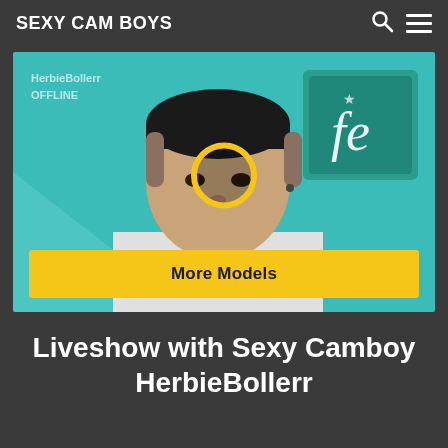SEXY CAM BOYS
[Figure (photo): Young Asian man in a white jacket against a teal background with a decorative 'Fe' sign. An orange/yellow ring overlay appears in the center. Text overlay reads 'HerbieBollerOFFLINE'. A yellow 'More Models' button appears at the bottom of the image.]
Liveshow with Sexy Camboy HerbieBollerr